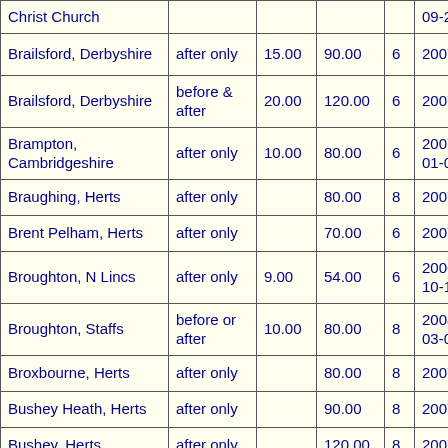| Location | When | Per session | Total | Bells | Date |
| --- | --- | --- | --- | --- | --- |
| Christ Church |  |  |  |  | 09-25 |
| Brailsford, Derbyshire | after only | 15.00 | 90.00 | 6 | 2007 |
| Brailsford, Derbyshire | before & after | 20.00 | 120.00 | 6 | 2007 |
| Brampton, Cambridgeshire | after only | 10.00 | 80.00 | 6 | 2007-01-01 |
| Braughing, Herts | after only |  | 80.00 | 8 | 2007 |
| Brent Pelham, Herts | after only |  | 70.00 | 6 | 2007 |
| Broughton, N Lincs | after only | 9.00 | 54.00 | 6 | 2006-10-11 |
| Broughton, Staffs | before or after | 10.00 | 80.00 | 8 | 2008-03-01 |
| Broxbourne, Herts | after only |  | 80.00 | 8 | 2007 |
| Bushey Heath, Herts | after only |  | 90.00 | 8 | 2007 |
| Bushey, Herts | after only |  | 120.00 | 8 | 2007 |
| Cambridge, Cambs, Gt St Mary | per session | 15.00 | 200.00 | 6-12 | 2009-04-05 |
| Chalton, Kints, Gl... |  |  |  |  | 2008 |